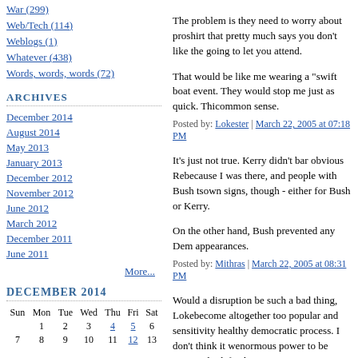War (299)
Web/Tech (114)
Weblogs (1)
Whatever (438)
Words, words, words (72)
ARCHIVES
December 2014
August 2014
May 2013
January 2013
December 2012
November 2012
June 2012
March 2012
December 2011
June 2011
More...
DECEMBER 2014
| Sun | Mon | Tue | Wed | Thu | Fri | Sat |
| --- | --- | --- | --- | --- | --- | --- |
|  | 1 | 2 | 3 | 4 | 5 | 6 |
| 7 | 8 | 9 | 10 | 11 | 12 | 13 |
The problem is they need to worry about pro- shirt that pretty much says you don't like the going to let you attend.

That would be like me wearing a "swift boat event. They would stop me just as quick. Thi- common sense.

Posted by: Lokester | March 22, 2005 at 07:18 PM
It's just not true. Kerry didn't bar obvious Re- because I was there, and people with Bush ts- own signs, though - either for Bush or Kerry.

On the other hand, Bush prevented any Dem appearances.

Posted by: Mithras | March 22, 2005 at 08:31 PM
Would a disruption be such a bad thing, Loke- become altogether too popular and sensitivity healthy democratic process. I don't think it w- enormous power to be constantly defending t